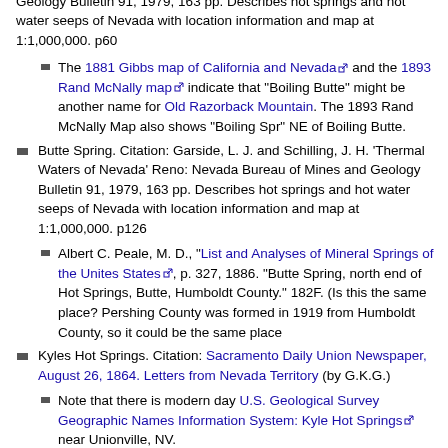'Thermal Waters of Nevada' Reno: Nevada Bureau of Mines and Geology Bulletin 91, 1979, 163 pp. Describes hot springs and hot water seeps of Nevada with location information and map at 1:1,000,000. p60
The 1881 Gibbs map of California and Nevada [external link] and the 1893 Rand McNally map [external link] indicate that "Boiling Butte" might be another name for Old Razorback Mountain. The 1893 Rand McNally Map also shows "Boiling Spr" NE of Boiling Butte.
Butte Spring. Citation: Garside, L. J. and Schilling, J. H. 'Thermal Waters of Nevada' Reno: Nevada Bureau of Mines and Geology Bulletin 91, 1979, 163 pp. Describes hot springs and hot water seeps of Nevada with location information and map at 1:1,000,000. p126
Albert C. Peale, M. D., "List and Analyses of Mineral Springs of the Unites States [external link], p. 327, 1886. "Butte Spring, north end of Hot Springs, Butte, Humboldt County." 182F. (Is this the same place? Pershing County was formed in 1919 from Humboldt County, so it could be the same place
Kyles Hot Springs. Citation: Sacramento Daily Union Newspaper, August 26, 1864. Letters from Nevada Territory (by G.K.G.)
Note that there is modern day U.S. Geological Survey Geographic Names Information System: Kyle Hot Springs [external link] near Unionville, NV.